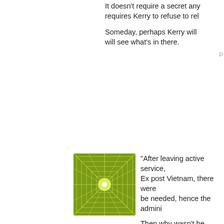It doesn't require a secret any more. It just requires Kerry to refuse to re...
Someday, perhaps Kerry will ... will see what's in there.
P...
[Figure (illustration): Green geometric spider-web pattern avatar icon]
"After leaving active service, ... Ex post Vietnam, there were ... be needed, hence the admini...
Then why wasn't he purged i... occurred. That's how Bush g... too intellectually strenuous fo...
Posted...
[Figure (illustration): Green sunburst/radial pattern avatar icon with circle center]
Les: You forgot about the evil... "discharge for being a pinko c...
Ed:
Kerry went from active duty to... stayed there until 1978. Not s...